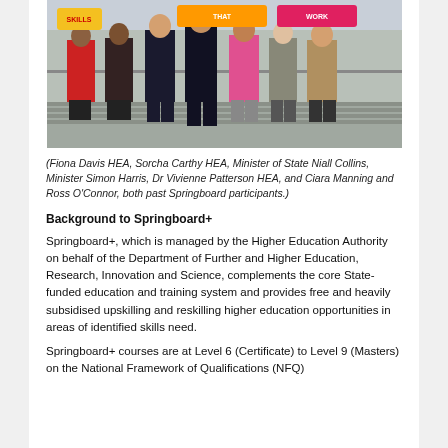[Figure (photo): Group photo of several people standing outdoors holding signs that read 'Skills That Work'. The group includes Fiona Davis HEA, Sorcha Carthy HEA, Minister of State Niall Collins, Minister Simon Harris, Dr Vivienne Patterson HEA, and Ciara Manning and Ross O'Connor.]
(Fiona Davis HEA, Sorcha Carthy HEA, Minister of State Niall Collins, Minister Simon Harris, Dr Vivienne Patterson HEA, and Ciara Manning and Ross O'Connor, both past Springboard participants.)
Background to Springboard+
Springboard+, which is managed by the Higher Education Authority on behalf of the Department of Further and Higher Education, Research, Innovation and Science, complements the core State-funded education and training system and provides free and heavily subsidised upskilling and reskilling higher education opportunities in areas of identified skills need.
Springboard+ courses are at Level 6 (Certificate) to Level 9 (Masters) on the National Framework of Qualifications (NFQ)